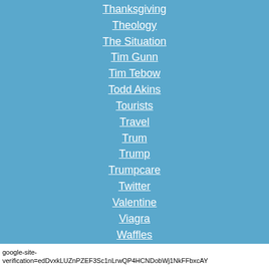Thanksgiving
Theology
The Situation
Tim Gunn
Tim Tebow
Todd Akins
Tourists
Travel
Trum
Trump
Trumpcare
Twitter
Valentine
Viagra
Waffles
Weed
Women
Wyoming Doomsday Bill
google-site-verification=edDvxkLUZnPZEF3Sc1nLrwQP4HCNDobWj1NkFFbxcAY